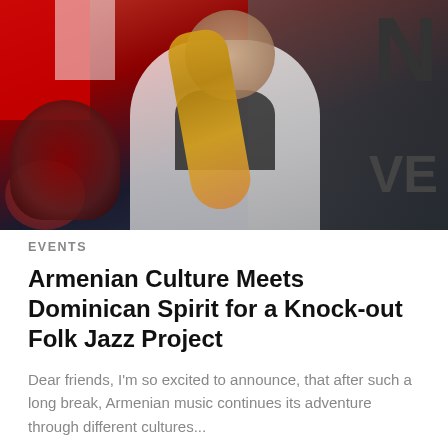[Figure (photo): A man in a white jacket playing a gold saxophone on stage. Behind him is a drum kit on the left, a Canadian flag (red) in the upper left background, and a dark sign with partial letters 'N' and 'VE' visible on the right. He has a beard and is wearing a bow tie.]
EVENTS
Armenian Culture Meets Dominican Spirit for a Knock-out Folk Jazz Project
Dear friends, I'm so excited to announce, that after such a long break, Armenian music continues its adventure through different cultures...